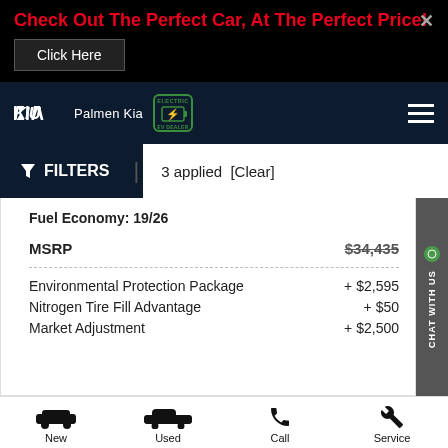Check Out The Perfect Car, At The Perfect Price!
Click Here
[Figure (logo): Kia logo with Palmen Kia dealer name and EV badge]
FILTERS  3 applied  [Clear]
Fuel Economy: 19/26
| Item | Price |
| --- | --- |
| MSRP | $34,435 |
| Environmental Protection Package | + $2,595 |
| Nitrogen Tire Fill Advantage | + $50 |
| Market Adjustment | + $2,500 |
New
Used
Call
Service